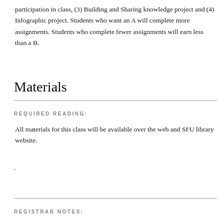participation in class, (3) Building and Sharing knowledge project and (4) Infographic project. Students who want an A will complete more assignments. Students who complete fewer assignments will earn less than a B.
Materials
REQUIRED READING:
All materials for this class will be available over the web and SFU library website.
.
REGISTRAR NOTES: